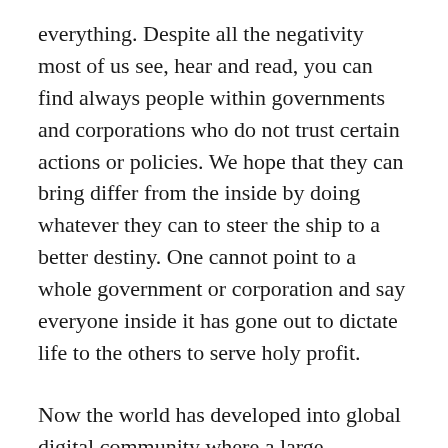everything. Despite all the negativity most of us see, hear and read, you can find always people within governments and corporations who do not trust certain actions or policies. We hope that they can bring differ from the inside by doing whatever they can to steer the ship to a better destiny. One cannot point to a whole government or corporation and say everyone inside it has gone out to dictate life to the others to serve holy profit.
Now the world has developed into global digital community where a large percentage of individuals and devices are connected to this entity called the Internet. One of the ways the web enriches our lives is that we can reach anyone on this net wherever they are. But then, do not forget that when you can reach anyone...